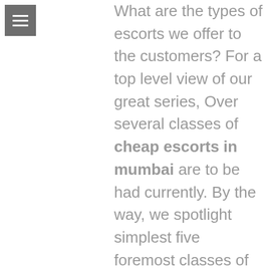[Figure (other): Hamburger menu icon — three horizontal white lines on a grey square background]
What are the types of escorts we offer to the customers? For a top level view of our great series, Over several classes of cheap escorts in mumbai are to be had currently. By the way, we spotlight simplest five foremost classes of escorts the ones are maximum famous many of the delight-seekers. Rest are top rate escorts women who aren't to be had for domestic or 3-big name resorts. Premium escort offerings are simplest for the humans to live in five-big